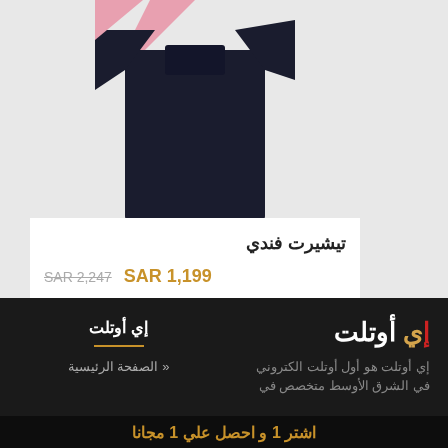[Figure (photo): A dark navy/black Fendi t-shirt with a pink diagonal stripe visible at the top, displayed against a light gray background. Only the upper portion of the shirt is visible.]
تيشيرت فندي
SAR 2,247  SAR 1,199
[Figure (logo): eOutlet brand logo in white and gold Arabic script with red 'e' letter: إي أوتلت]
إي أوتلت
إي أوتلت هو أول أوتلت الكتروني في الشرق الأوسط متخصص في
الصفحة الرئيسية
اشتر 1 و احصل علي 1 مجانا